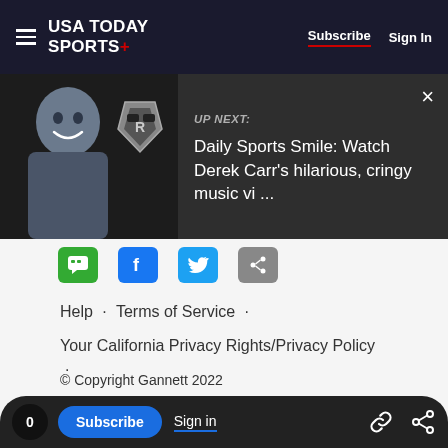USA TODAY SPORTS+ | Subscribe | Sign In
[Figure (screenshot): UP NEXT: Daily Sports Smile: Watch Derek Carr's hilarious, cringy music vi ...]
[Figure (infographic): Social sharing icons: comment, Facebook, Twitter, share]
Help · Terms of Service ·
Your California Privacy Rights/Privacy Policy ·
Privacy Policy · Site Map · Accessibility ·
Our Ethical Principles · Manage Cookies
© Copyright Gannett 2022
0 Subscribe Sign in